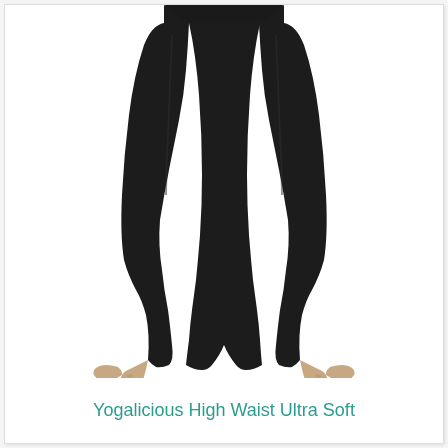[Figure (photo): A woman wearing black Yogalicious high waist capri leggings, shown from the waist down against a white background. The model is barefoot, standing with legs slightly apart. The leggings are solid black, form-fitting, and end mid-calf.]
Yogalicious High Waist Ultra Soft